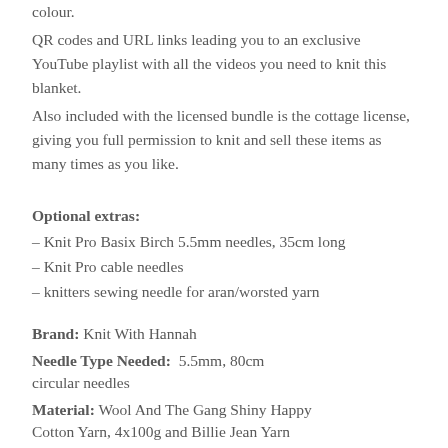colour.
QR codes and URL links leading you to an exclusive YouTube playlist with all the videos you need to knit this blanket.
Also included with the licensed bundle is the cottage license, giving you full permission to knit and sell these items as many times as you like.
Optional extras:
– Knit Pro Basix Birch 5.5mm needles, 35cm long
– Knit Pro cable needles
– knitters sewing needle for aran/worsted yarn
Brand: Knit With Hannah
Needle Type Needed:  5.5mm, 80cm circular needles
Material: Wool And The Gang Shiny Happy Cotton Yarn, 4x100g and Billie Jean Yarn